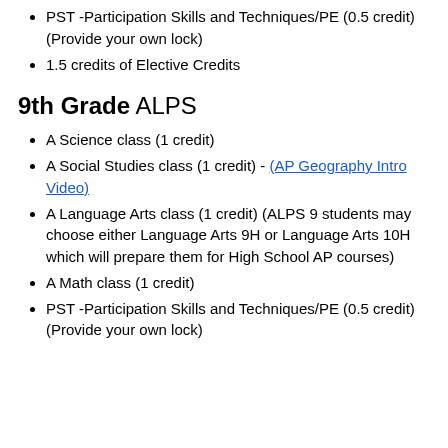PST -Participation Skills and Techniques/PE (0.5 credit) (Provide your own lock)
1.5 credits of Elective Credits
9th Grade ALPS
A Science class (1 credit)
A Social Studies class (1 credit) - (AP Geography Intro Video)
A Language Arts class (1 credit) (ALPS 9 students may choose either Language Arts 9H or Language Arts 10H which will prepare them for High School AP courses)
A Math class (1 credit)
PST -Participation Skills and Techniques/PE (0.5 credit) (Provide your own lock)